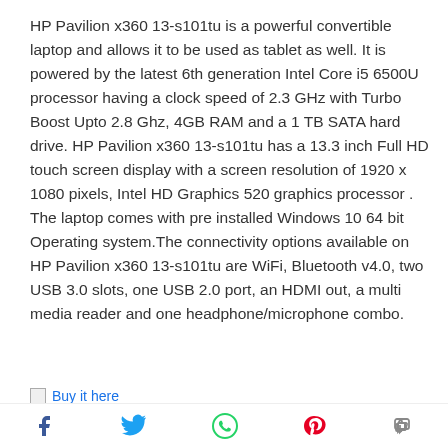HP Pavilion x360 13-s101tu is a powerful convertible laptop and allows it to be used as tablet as well. It is powered by the latest 6th generation Intel Core i5 6500U processor having a clock speed of 2.3 GHz with Turbo Boost Upto 2.8 Ghz, 4GB RAM and a 1 TB SATA hard drive. HP Pavilion x360 13-s101tu has a 13.3 inch Full HD touch screen display with a screen resolution of 1920 x 1080 pixels, Intel HD Graphics 520 graphics processor . The laptop comes with pre installed Windows 10 64 bit Operating system.The connectivity options available on HP Pavilion x360 13-s101tu are WiFi, Bluetooth v4.0, two USB 3.0 slots, one USB 2.0 port, an HDMI out, a multi media reader and one headphone/microphone combo.
Buy it here
Acer Aspire E5-574G